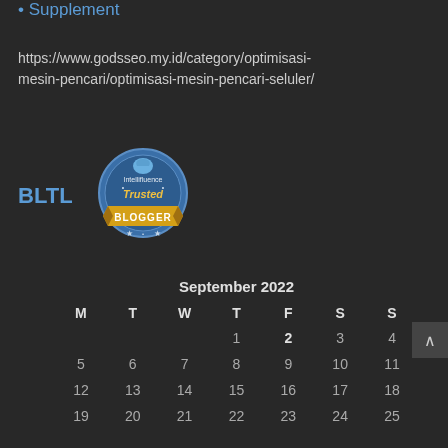Supplement
https://www.godsseo.my.id/category/optimisasi-mesin-pencari/optimisasi-mesin-pencari-seluler/
[Figure (logo): BLTL label with Intellifluence Trusted Blogger badge]
| M | T | W | T | F | S | S |
| --- | --- | --- | --- | --- | --- | --- |
|  |  |  | 1 | 2 | 3 | 4 |
| 5 | 6 | 7 | 8 | 9 | 10 | 11 |
| 12 | 13 | 14 | 15 | 16 | 17 | 18 |
| 19 | 20 | 21 | 22 | 23 | 24 | 25 |